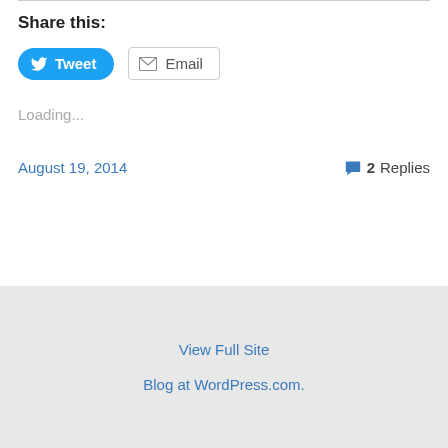Share this:
[Figure (other): Tweet and Email share buttons]
Loading...
August 19, 2014   💬 2 Replies
View Full Site
Blog at WordPress.com.